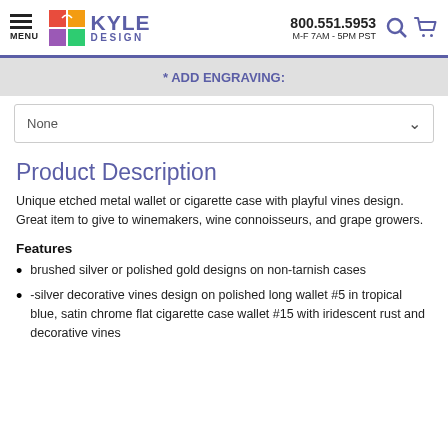Kyle Design | 800.551.5953 | M-F 7AM - 5PM PST
* ADD ENGRAVING:
None
Product Description
Unique etched metal wallet or cigarette case with playful vines design. Great item to give to winemakers, wine connoisseurs, and grape growers.
Features
brushed silver or polished gold designs on non-tarnish cases
-silver decorative vines design on polished long wallet #5 in tropical blue, satin chrome flat cigarette case wallet #15 with iridescent rust and decorative vines